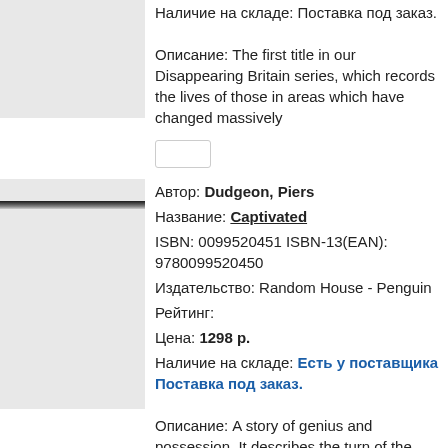Наличие на складе: Поставка под заказ.
Описание: The first title in our Disappearing Britain series, which records the lives of those in areas which have changed massively
Автор: Dudgeon, Piers
Название: Captivated
ISBN: 0099520451 ISBN-13(EAN): 9780099520450
Издательство: Random House - Penguin
Рейтинг:
Цена: 1298 р.
Наличие на складе: Есть у поставщика Поставка под заказ.
Описание: A story of genius and possession. It describes the turn of the century, when a late-nineteenth-century world of mesmerists, psychics, trancers and table-turners gave way to a new twentieth-century age of psychology. It features the creator of Peter Pan, the famous novelist and playwright J M Barrie, a man tormented by inner demons since childhood.